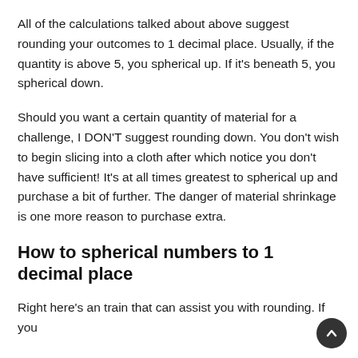All of the calculations talked about above suggest rounding your outcomes to 1 decimal place. Usually, if the quantity is above 5, you spherical up. If it's beneath 5, you spherical down.
Should you want a certain quantity of material for a challenge, I DON'T suggest rounding down. You don't wish to begin slicing into a cloth after which notice you don't have sufficient! It's at all times greatest to spherical up and purchase a bit of further. The danger of material shrinkage is one more reason to purchase extra.
How to spherical numbers to 1 decimal place
Right here's an train that can assist you with rounding. If you